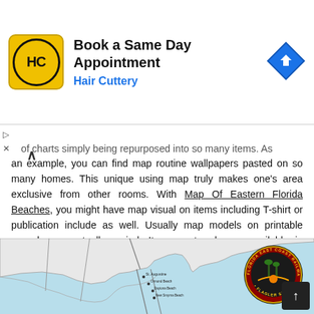[Figure (other): Hair Cuttery advertisement banner: HC logo (yellow circle with HC text), headline 'Book a Same Day Appointment', subtext 'Hair Cuttery', and a blue diamond turn-sign icon on the right.]
of charts simply being repurposed into so many items. As an example, you can find map routine wallpapers pasted on so many homes. This unique using map truly makes one's area exclusive from other rooms. With Map Of Eastern Florida Beaches, you might have map visual on items including T-shirt or publication include as well. Usually map models on printable records are actually varied. It can not only are available in conventional color structure to the genuine map. For that, these are flexible to a lot of uses.
[Figure (map): Map of Eastern Florida coastline showing railway routes; includes 'Florida East Coast Railway – Flagler System' circular badge/seal in upper right corner of the map.]